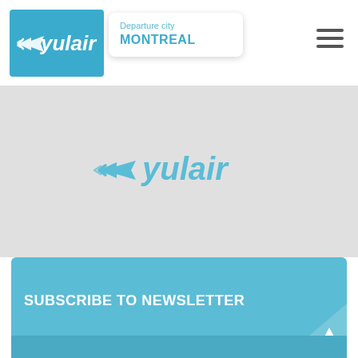[Figure (logo): Yulair airline logo in white on blue square background]
Departure city
MONTREAL
[Figure (illustration): Hamburger menu icon (three horizontal lines)]
[Figure (logo): Yulair airline logo in blue on gray background]
SUBSCRIBE TO NEWSLETTER